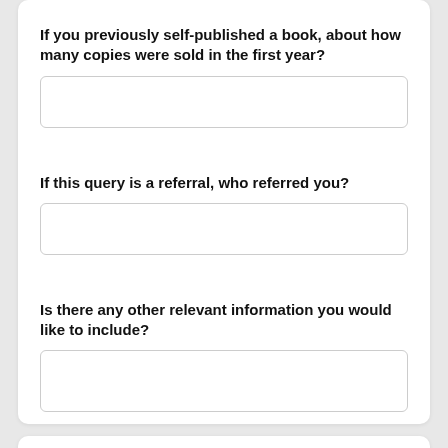If you previously self-published a book, about how many copies were sold in the first year?
If this query is a referral, who referred you?
Is there any other relevant information you would like to include?
Step 2. Tell us about the book
Fill in these book-related fields.